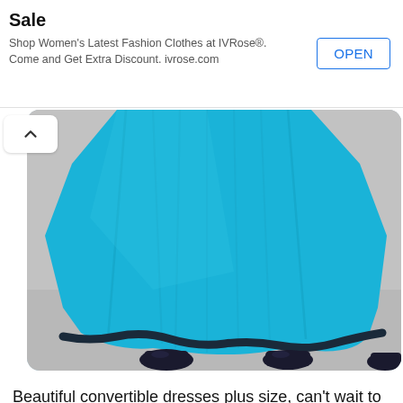[Figure (infographic): Advertisement banner for IVRose website big sale. Title: 'Up to 50% off - IVRose Website Big Sale'. Subtitle: 'Shop Women's Latest Fashion Clothes at IVRose®. Come and Get Extra Discount. ivrose.com'. Button: OPEN]
[Figure (photo): Photo of a bright blue/turquoise convertible dress, showing the flared skirt portion. The dress has a navy/dark trim at the hem. Two pairs of dark shoes are visible below the dress hem against a gray background.]
Beautiful convertible dresses plus size, can't wait to wear it. Turned out perfect. I was so happy that i bought this convertible plus size dress. Deep sweetheart neckline features a sheer inset in the center bodice. I am 5'6 and the plus size convertible dresses came to my knee. Take